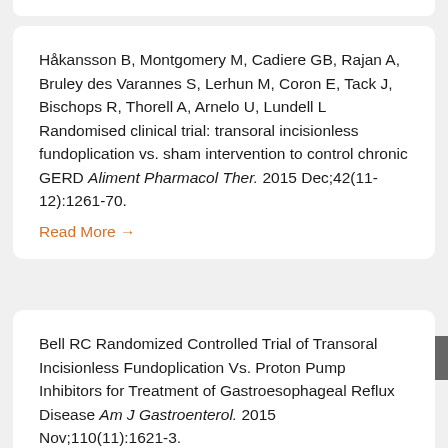Håkansson B, Montgomery M, Cadiere GB, Rajan A, Bruley des Varannes S, Lerhun M, Coron E, Tack J, Bischops R, Thorell A, Arnelo U, Lundell L Randomised clinical trial: transoral incisionless fundoplication vs. sham intervention to control chronic GERD Aliment Pharmacol Ther. 2015 Dec;42(11-12):1261-70.
Read More →
Bell RC Randomized Controlled Trial of Transoral Incisionless Fundoplication Vs. Proton Pump Inhibitors for Treatment of Gastroesophageal Reflux Disease Am J Gastroenterol. 2015 Nov;110(11):1621-3.